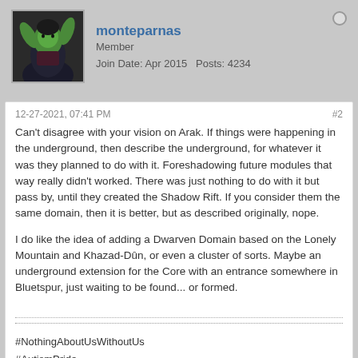monteparnas | Member | Join Date: Apr 2015   Posts: 4234
12-27-2021, 07:41 PM
#2
Can't disagree with your vision on Arak. If things were happening in the underground, then describe the underground, for whatever it was they planned to do with it. Foreshadowing future modules that way really didn't worked. There was just nothing to do with it but pass by, until they created the Shadow Rift. If you consider them the same domain, then it is better, but as described originally, nope.
I do like the idea of adding a Dwarven Domain based on the Lonely Mountain and Khazad-Dûn, or even a cluster of sorts. Maybe an underground extension for the Core with an entrance somewhere in Bluetspur, just waiting to be found... or formed.
#NothingAboutUsWithoutUs
#AutismPride
She/her pronouns